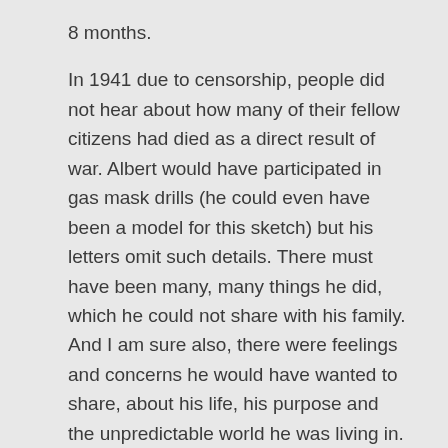8 months.
In 1941 due to censorship, people did not hear about how many of their fellow citizens had died as a direct result of war. Albert would have participated in gas mask drills (he could even have been a model for this sketch) but his letters omit such details. There must have been many, many things he did, which he could not share with his family. And I am sure also, there were feelings and concerns he would have wanted to share, about his life, his purpose and the unpredictable world he was living in. As such candour was impossible, Albert details the munitae of his December days, in the dull lull between Christmas and New Year.